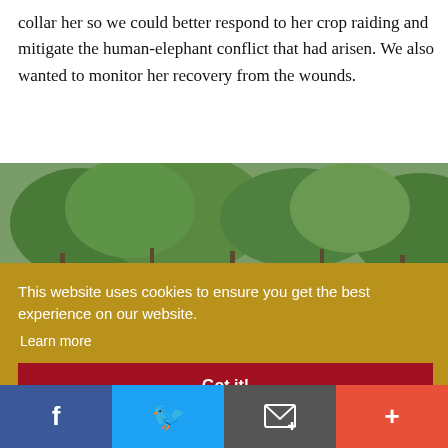collar her so we could better respond to her crop raiding and mitigate the human-elephant conflict that had arisen. We also wanted to monitor her recovery from the wounds.
[Figure (photo): Outdoor wildlife scene showing a person in a green uniform leaning forward among trees and scrubland vegetation, likely a wildlife conservation worker or ranger]
This website uses cookies to ensure you get the best experience on our website. Learn more
Got it!
Social sharing bar with Facebook, Twitter, Email, and plus/share buttons